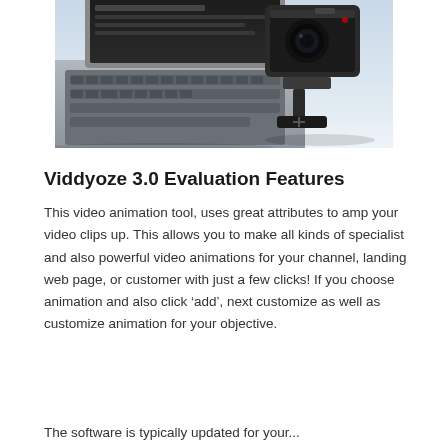[Figure (photo): Photo of a laptop keyboard on the left and an action camera (GoPro-style) mounted on a mount on the right, both on a light surface.]
Viddyoze 3.0 Evaluation Features
This video animation tool, uses great attributes to amp your video clips up. This allows you to make all kinds of specialist and also powerful video animations for your channel, landing web page, or customer with just a few clicks! If you choose animation and also click ‘add’, next customize as well as customize animation for your objective.
The software is typically updated for your...